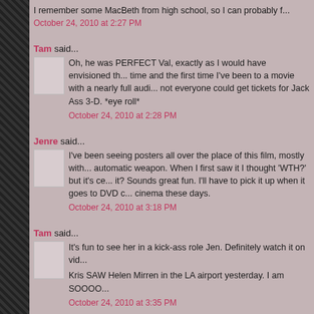I remember some MacBeth from high school, so I can probably f...
October 24, 2010 at 2:27 PM
Tam said...
Oh, he was PERFECT Val, exactly as I would have envisioned th... time and the first time I've been to a movie with a nearly full audi... not everyone could get tickets for Jack Ass 3-D. *eye roll*
October 24, 2010 at 2:28 PM
Jenre said...
I've been seeing posters all over the place of this film, mostly with... automatic weapon. When I first saw it I thought 'WTH?' but it's ce... it? Sounds great fun. I'll have to pick it up when it goes to DVD c... cinema these days.
October 24, 2010 at 3:18 PM
Tam said...
It's fun to see her in a kick-ass role Jen. Definitely watch it on vid...
Kris SAW Helen Mirren in the LA airport yesterday. I am SOOOO...
October 24, 2010 at 3:35 PM